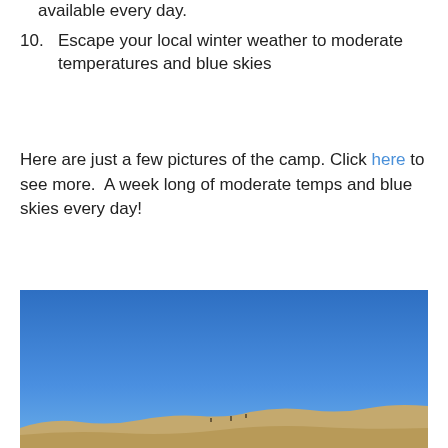available every day.
10. Escape your local winter weather to moderate temperatures and blue skies
Here are just a few pictures of the camp. Click here to see more.  A week long of moderate temps and blue skies every day!
[Figure (photo): Outdoor desert landscape photo showing a bright clear blue sky taking up approximately two-thirds of the frame, with a rocky desert ridge/hillside visible along the bottom portion of the image.]